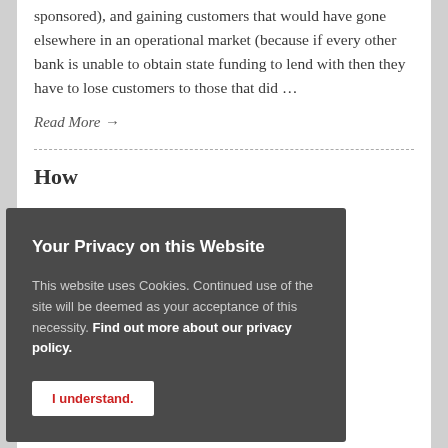sponsored), and gaining customers that would have gone elsewhere in an operational market (because if every other bank is unable to obtain state funding to lend with then they have to lose customers to those that did …
Read More →
How
uld be nd to be the ey e to see e valid concerns and in the current market there are
[Figure (screenshot): Cookie consent popup overlay with dark gray background. Title: 'Your Privacy on this Website'. Body text explaining cookie use and acceptance. Link 'Find out more about our privacy policy.' Button labeled 'I understand.' in red text on white background.]